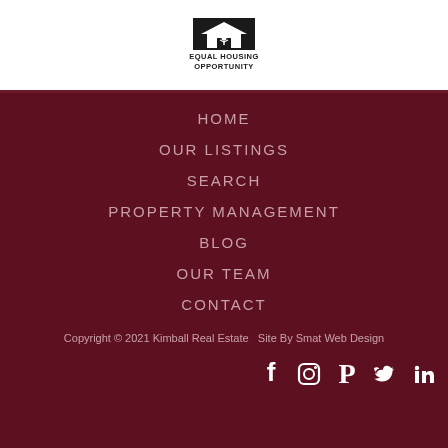[Figure (logo): Equal Housing Opportunity logo with house icon and text]
HOME
OUR LISTINGS
SEARCH
PROPERTY MANAGEMENT
BLOG
OUR TEAM
CONTACT
Copyright © 2021 Kimball Real Estate   Site By Smat Web Design
[Figure (logo): Social media icons: Facebook, Instagram, Pinterest, Twitter, LinkedIn]